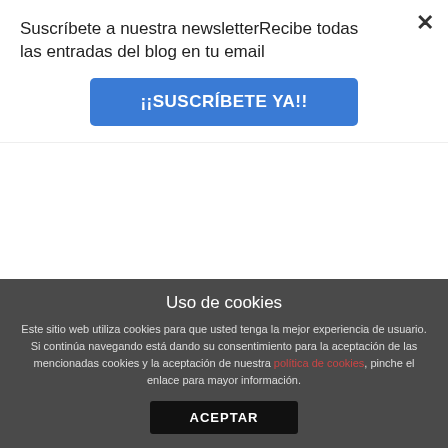Suscríbete a nuestra newsletterRecibe todas las entradas del blog en tu email
¡¡SUSCRÍBETE YA!!
[Figure (photo): Book cover showing grid of author headshots with colored geometric accents on a light blue background, with author names listed below]
EBOOK CLOUD POR VEXPERTS
Uso de cookies
Este sitio web utiliza cookies para que usted tenga la mejor experiencia de usuario. Si continúa navegando está dando su consentimiento para la aceptación de las mencionadas cookies y la aceptación de nuestra política de cookies, pinche el enlace para mayor información.
ACEPTAR